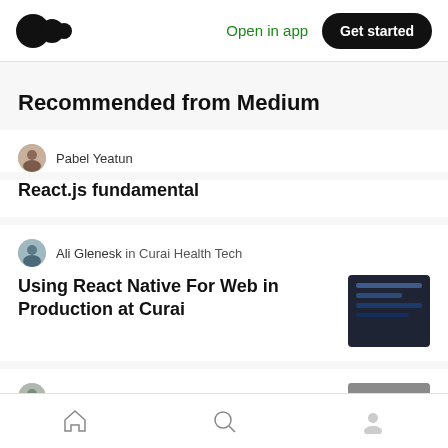Medium logo | Open in app | Get started
Recommended from Medium
Pabel Yeatun
React.js fundamental
Ali Glenesk in Curai Health Tech
Using React Native For Web in Production at Curai
Filip Vitas
Setup React Native app from scratch
Home | Search | Profile